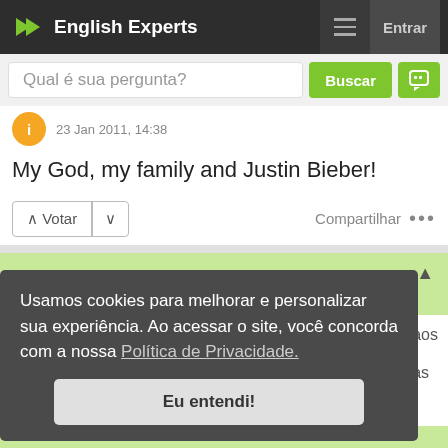English Experts
[Figure (screenshot): Search bar with placeholder text 'Qual é sua pergunta?' and green Buscar button and chat icon button]
23 Jan 2011, 14:38
My God, my family and Justin Bieber!
[Figure (other): Vote buttons (up/down arrows) and Compartilhar/share link with three dots]
Usamos cookies para melhorar e personalizar sua experiência. Ao acessar o site, você concorda com a nossa Política de Privacidade.
Eu entendi!